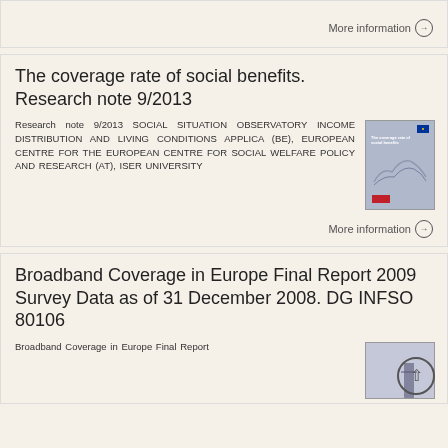More information →
The coverage rate of social benefits. Research note 9/2013
Research note 9/2013 SOCIAL SITUATION OBSERVATORY INCOME DISTRIBUTION AND LIVING CONDITIONS APPLICA (BE), EUROPEAN CENTRE FOR THE EUROPEAN CENTRE FOR SOCIAL WELFARE POLICY AND RESEARCH (AT), ISER UNIVERSITY
[Figure (illustration): Thumbnail of publication cover for 'The coverage rate of social benefits. Research note 9/2013']
More information →
Broadband Coverage in Europe Final Report 2009 Survey Data as of 31 December 2008. DG INFSO 80106
Broadband Coverage in Europe Final Report
[Figure (illustration): Thumbnail of Broadband Coverage in Europe report cover with person silhouette]